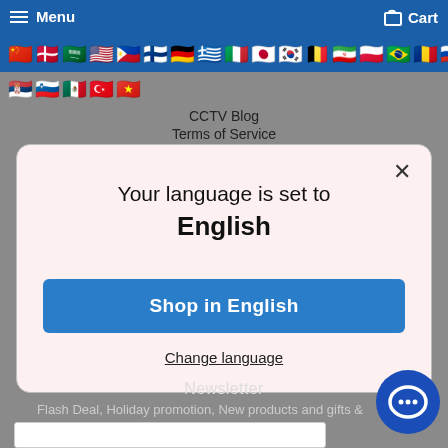Menu  Cart
[Figure (illustration): Two rows of country flag emojis used as language selectors on a website navigation bar]
CCTV Blog
Terms of Service
Your language is set to English
Shop in English
Change language
Newsletter
Flash Deal, Holiday promotion, New products and gifts & Directly to your inbox.